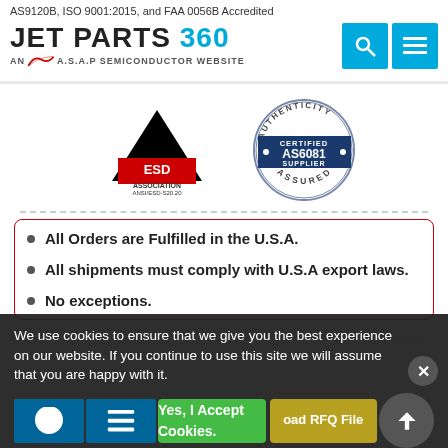AS9120B, ISO 9001:2015, and FAA 0056B Accredited
[Figure (logo): JET PARTS 360 logo — AN A.S.A.P SEMICONDUCTOR WEBSITE with search and menu buttons]
[Figure (logo): ESD Association ANSI/ESD-S20.20 logo and AS6081 Authenticity Certified Supplier Assured badge]
All Orders are Fulfilled in the U.S.A.
All shipments must comply with U.S.A export laws.
No exceptions.
We use cookies to ensure that we give you the best experience on our website. If you continue to use this site we will assume that you are happy with it.